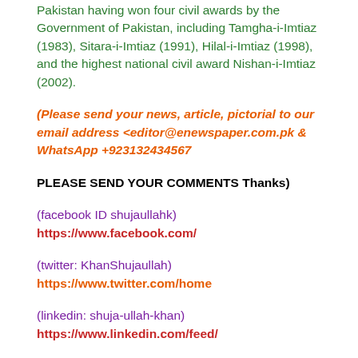Pakistan having won four civil awards by the Government of Pakistan, including Tamgha-i-Imtiaz (1983), Sitara-i-Imtiaz (1991), Hilal-i-Imtiaz (1998), and the highest national civil award Nishan-i-Imtiaz (2002).
(Please send your news, article, pictorial to our email address <editor@enewspaper.com.pk & WhatsApp +923132434567
PLEASE SEND YOUR COMMENTS Thanks)
(facebook ID shujaullahk) https://www.facebook.com/
(twitter: KhanShujaullah) https://www.twitter.com/home
(linkedin: shuja-ullah-khan) https://www.linkedin.com/feed/